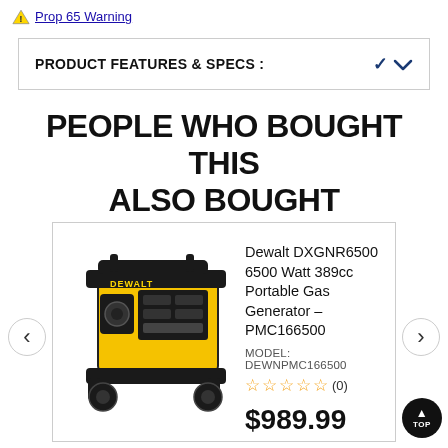⚠ Prop 65 Warning
PRODUCT FEATURES & SPECS :
PEOPLE WHO BOUGHT THIS ALSO BOUGHT
[Figure (photo): Yellow and black Dewalt DXGNR6500 portable gas generator with wheels]
Dewalt DXGNR6500 6500 Watt 389cc Portable Gas Generator – PMC166500
MODEL: DEWNPMC166500
☆☆☆☆☆ (0)
$989.99